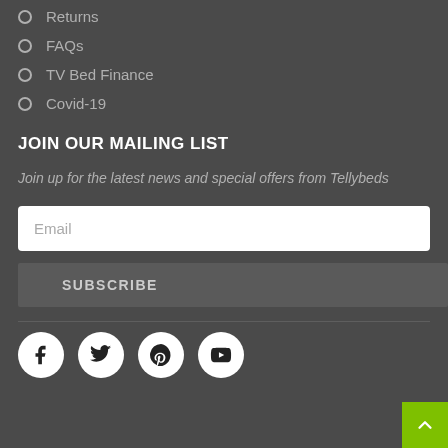Returns
FAQs
TV Bed Finance
Covid-19
JOIN OUR MAILING LIST
Join up for the latest news and special offers from Tellybeds
[Figure (other): Email input field with placeholder text 'Email']
[Figure (other): Subscribe button]
[Figure (other): Social media icons row: Facebook, Twitter, Pinterest, YouTube]